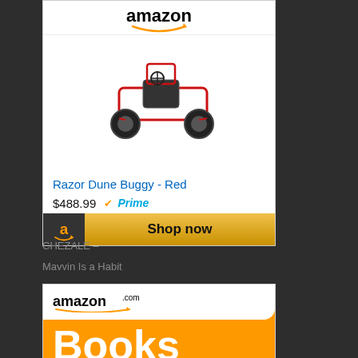[Figure (screenshot): Amazon product ad for Razor Dune Buggy - Red, price $488.99 with Prime badge and Shop now button]
CHEZALE –
Mavvin Is a Habit
[Figure (screenshot): Amazon.com Books banner advertisement with orange background]